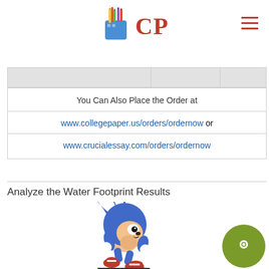[Figure (logo): CollegePaper.us logo with pencil cup icon and CP text in red]
| You Can Also Place the Order at |
| www.collegepaper.us/orders/ordernow or |
| www.crucialessay.com/orders/ordernow |
Analyze the Water Footprint Results
[Figure (illustration): Sonic the Hedgehog running illustration with shadow line below and red/yellow swoosh graphic at bottom]